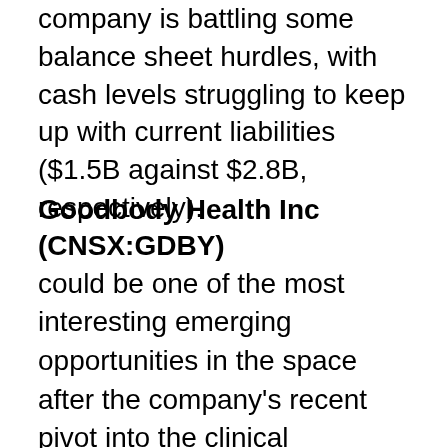company is battling some balance sheet hurdles, with cash levels struggling to keep up with current liabilities ($1.5B against $2.8B, respectively).
Goodbody Health Inc (CNSX:GDBY)
could be one of the most interesting emerging opportunities in the space after the company's recent pivot into the clinical diagnostics space. The company operates within the United Kingdom and Europe as a trusted distributor and retailer of quality, accredited wellness products and diagnostic services to provide serious (functional health...